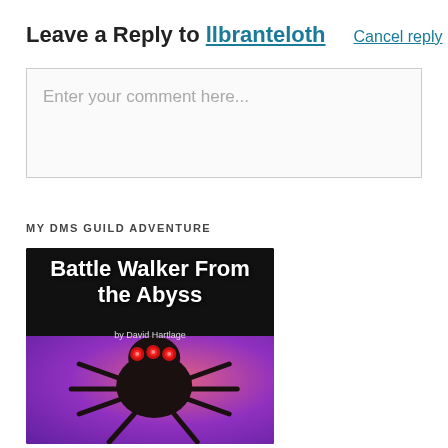Leave a Reply to llbranteloth  Cancel reply
Enter your comment here...
MY DMS GUILD ADVENTURE
[Figure (illustration): Book cover for 'Battle Walker From the Abyss' by David Hartlage. Dark background on top, purple and pink glowing gradient on bottom, with a large dark spider-like creature with multiple glowing red eyes.]